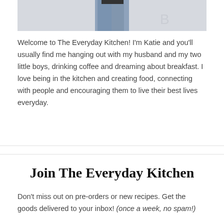[Figure (photo): Partial photo of a woman in a black top and blue jeans standing against a light wall, cropped to show from waist down]
Welcome to The Everyday Kitchen! I'm Katie and you'll usually find me hanging out with my husband and my two little boys, drinking coffee and dreaming about breakfast. I love being in the kitchen and creating food, connecting with people and encouraging them to live their best lives everyday.
Join The Everyday Kitchen
Don't miss out on pre-orders or new recipes. Get the goods delivered to your inbox! (once a week, no spam!)